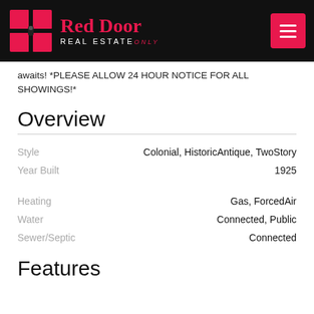[Figure (logo): Red Door Real Estate logo with red door icon on black header bar and hamburger menu button]
awaits! *PLEASE ALLOW 24 HOUR NOTICE FOR ALL SHOWINGS!*
Overview
| Property | Value |
| --- | --- |
| Style | Colonial, HistoricAntique, TwoStory |
| Year Built | 1925 |
| Heating | Gas, ForcedAir |
| Water | Connected, Public |
| Sewer/Septic | Connected |
Features